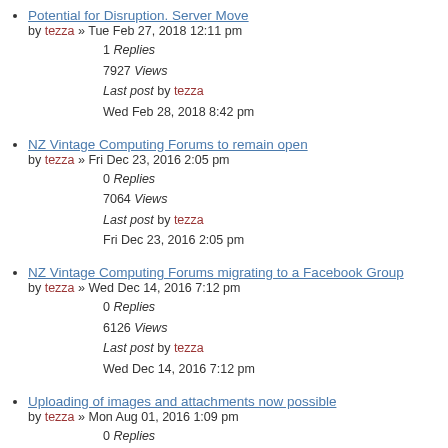Potential for Disruption. Server Move
by tezza » Tue Feb 27, 2018 12:11 pm
1 Replies
7927 Views
Last post by tezza
Wed Feb 28, 2018 8:42 pm
NZ Vintage Computing Forums to remain open
by tezza » Fri Dec 23, 2016 2:05 pm
0 Replies
7064 Views
Last post by tezza
Fri Dec 23, 2016 2:05 pm
NZ Vintage Computing Forums migrating to a Facebook Group
by tezza » Wed Dec 14, 2016 7:12 pm
0 Replies
6126 Views
Last post by tezza
Wed Dec 14, 2016 7:12 pm
Uploading of images and attachments now possible
by tezza » Mon Aug 01, 2016 1:09 pm
0 Replies
5701 Views
Last post by tezza
Mon Aug 01, 2016 1:09 pm
Forum is now mobile friendly
by tezza » ...